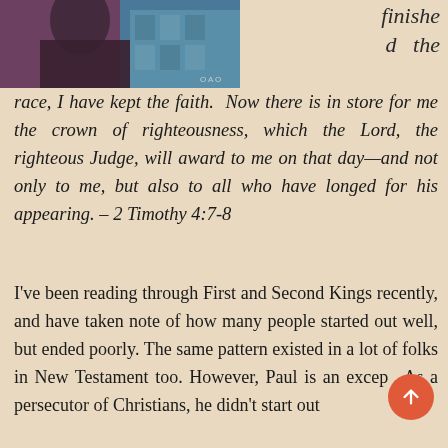[Figure (photo): Partial photo of a person in dark clothing with a decorative blue background, with a small watermark label 'O A O' at the bottom right.]
finished  the race, I have kept the faith.  Now there is in store for me the crown of righteousness, which the Lord, the righteous Judge, will award to me on that day—and not only to me, but also to all who have longed for his appearing. – 2 Timothy 4:7-8
I've been reading through First and Second Kings recently, and have taken note of how many people started out well, but ended poorly. The same pattern existed in a lot of folks in New Testament too. However, Paul is an excep…. As a persecutor of Christians, he didn't start out